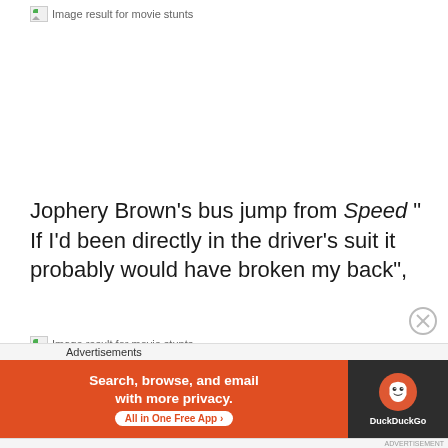[Figure (other): Broken image placeholder with text 'Image result for movie stunts']
Jophery Brown's bus jump from Speed " If I'd been directly in the driver's suit it probably would have broken my back",
[Figure (other): Broken image placeholder with text 'Image result for movie stunts']
Advertisements
[Figure (screenshot): DuckDuckGo advertisement banner: 'Search, browse, and email with more privacy. All in One Free App' with DuckDuckGo logo on dark right panel]